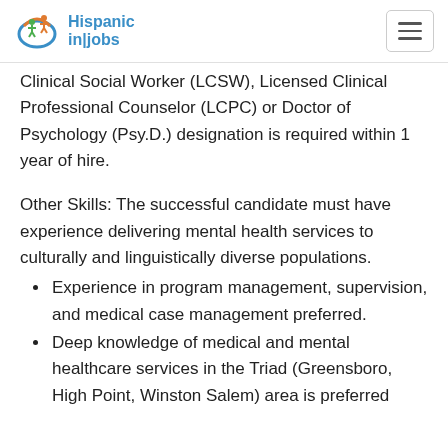Hispanic in|jobs
Clinical Social Worker (LCSW), Licensed Clinical Professional Counselor (LCPC) or Doctor of Psychology (Psy.D.) designation is required within 1 year of hire.
Other Skills: The successful candidate must have experience delivering mental health services to culturally and linguistically diverse populations.
Experience in program management, supervision, and medical case management preferred.
Deep knowledge of medical and mental healthcare services in the Triad (Greensboro, High Point, Winston Salem) area is preferred